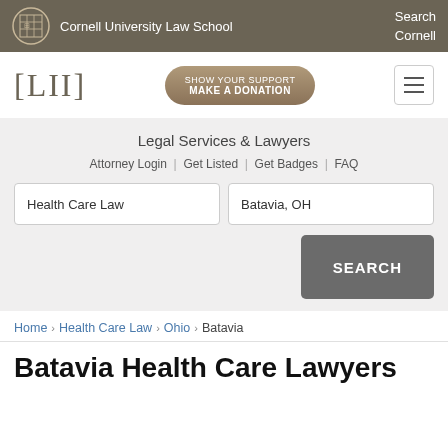Cornell University Law School | Search Cornell
[Figure (logo): LII Legal Information Institute logo with [LII] bracket text]
SHOW YOUR SUPPORT MAKE A DONATION
Legal Services & Lawyers
Attorney Login | Get Listed | Get Badges | FAQ
Health Care Law | Batavia, OH | SEARCH
Home › Health Care Law › Ohio › Batavia
Batavia Health Care Lawyers